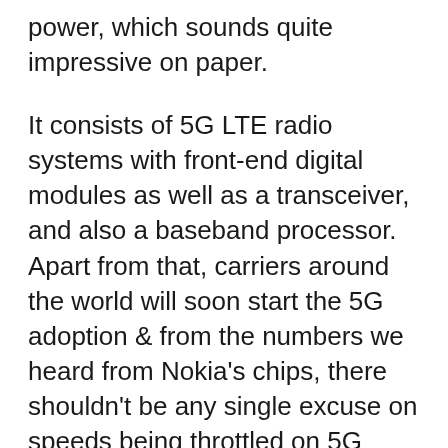power, which sounds quite impressive on paper.
It consists of 5G LTE radio systems with front-end digital modules as well as a transceiver, and also a baseband processor. Apart from that, carriers around the world will soon start the 5G adoption & from the numbers we heard from Nokia's chips, there shouldn't be any single excuse on speeds being throttled on 5G networks.
It has to vanish when such an advance, high-performance systems, and chips are behind the scenes. Nokia conveyed that the ReefShark will start shipping from Q3 of 2018.